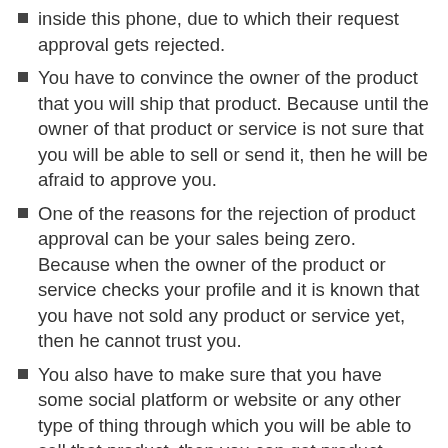inside this phone, due to which their request approval gets rejected.
You have to convince the owner of the product that you will ship that product. Because until the owner of that product or service is not sure that you will be able to sell or send it, then he will be afraid to approve you.
One of the reasons for the rejection of product approval can be your sales being zero. Because when the owner of the product or service checks your profile and it is known that you have not sold any product or service yet, then he cannot trust you.
You also have to make sure that you have some social platform or website or any other type of thing through which you will be able to sell that product, then you can get product approval.
One of the reasons for not getting product approval is also EPC. The full forum of EPC is: Earning Per Click | When a large number of visitors come to you and very few of them buy